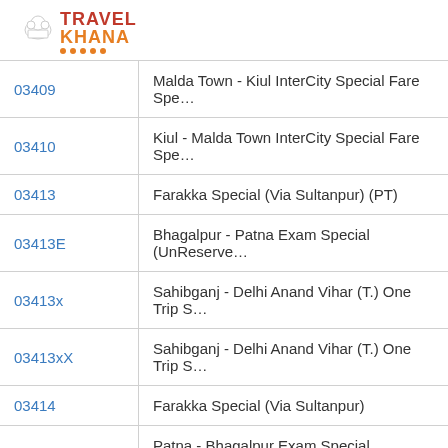[Figure (logo): TravelKhana logo with chef hat icon, red 'TRAVEL' and orange 'KHANA' text, orange dots underneath]
| Code | Train Name |
| --- | --- |
| 03409 | Malda Town - Kiul InterCity Special Fare Spe… |
| 03410 | Kiul - Malda Town InterCity Special Fare Spe… |
| 03413 | Farakka Special (Via Sultanpur) (PT) |
| 03413E | Bhagalpur - Patna Exam Special (UnReserve… |
| 03413x | Sahibganj - Delhi Anand Vihar (T.) One Trip S… |
| 03413xX | Sahibganj - Delhi Anand Vihar (T.) One Trip S… |
| 03414 | Farakka Special (Via Sultanpur) |
| 03414E | Patna - Bhagalpur Exam Special (UnReserve… |
| 03414x | Delhi Anand Vihar (T.) - Sahibganj One Trip S… |
| 03414xX | Delhi Anand Vihar (T.) - Sahibganj One Trip S… |